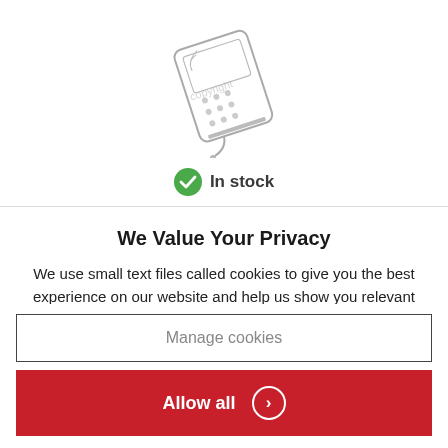[Figure (illustration): A tilted illustration of a card reader / payment terminal device, shown in line-art style with a watermark overlay.]
In stock
We Value Your Privacy
We use small text files called cookies to give you the best experience on our website and help us show you relevant information.
You can choose whether to manage these or allow them all.
View Cookie Policy.
Manage cookies
Allow all